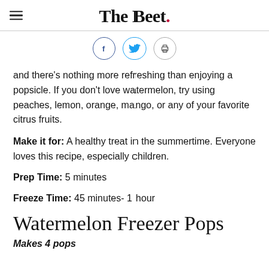The Beet.
[Figure (infographic): Social sharing icons: Facebook (f), Twitter (bird), and print (printer) icons in circles]
and there's nothing more refreshing than enjoying a popsicle. If you don't love watermelon, try using peaches, lemon, orange, mango, or any of your favorite citrus fruits.
Make it for: A healthy treat in the summertime. Everyone loves this recipe, especially children.
Prep Time: 5 minutes
Freeze Time: 45 minutes- 1 hour
Watermelon Freezer Pops
Makes 4 pops